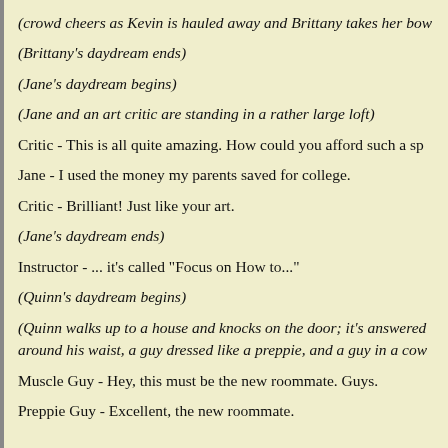(crowd cheers as Kevin is hauled away and Brittany takes her bow
(Brittany's daydream ends)
(Jane's daydream begins)
(Jane and an art critic are standing in a rather large loft)
Critic - This is all quite amazing. How could you afford such a sp
Jane - I used the money my parents saved for college.
Critic - Brilliant! Just like your art.
(Jane's daydream ends)
Instructor - ... it's called "Focus on How to..."
(Quinn's daydream begins)
(Quinn walks up to a house and knocks on the door; it's answered around his waist, a guy dressed like a preppie, and a guy in a cow
Muscle Guy - Hey, this must be the new roommate. Guys.
Preppie Guy - Excellent, the new roommate.